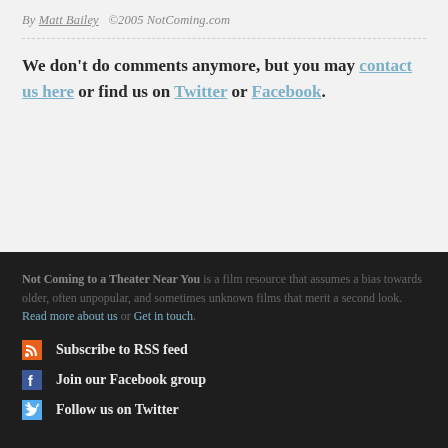By Matt Bailey  ©2005 NotComing.com
We don't do comments anymore, but you may contact us here or find us on Twitter or Facebook.
Not Coming to a Theater Near You is a film resource that assumes a bias towards older, often unpopular, and sometimes unknown films that merit a second look. Read more about us or Get in touch.
Subscribe to RSS feed
Join our Facebook group
Follow us on Twitter